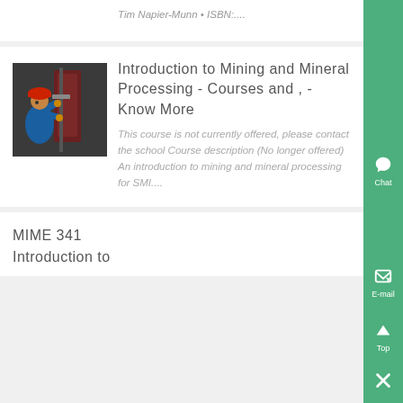Tim Napier-Munn • ISBN:....
[Figure (photo): A worker in a blue uniform and red hard hat operating industrial mining/drilling equipment]
Introduction to Mining and Mineral Processing - Courses and , - Know More
This course is not currently offered, please contact the school Course description (No longer offered) An introduction to mining and mineral processing for SMI....
MIME 341 Introduction to